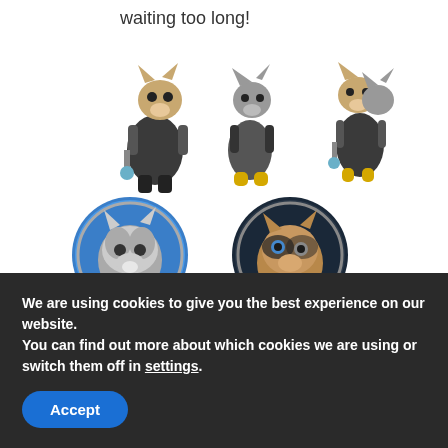waiting too long!
[Figure (illustration): Three anthropomorphic animal game characters standing, two wolf/cat-like characters with robotic devices and one combined/duo character, colored grey, brown and yellow.]
[Figure (illustration): Two circular avatar icons of anthropomorphic animal game characters: a grey wolf character on blue background, and a brown/tan raccoon-like character on dark background.]
We are using cookies to give you the best experience on our website.
You can find out more about which cookies we are using or switch them off in settings.
Accept